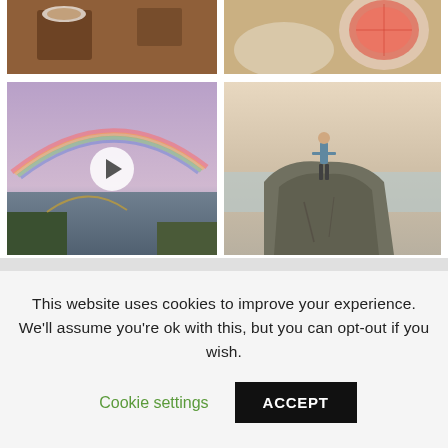[Figure (photo): Top-left photo: coffee cup and items on a wooden table, warm brown tones.]
[Figure (photo): Top-right photo: halved grapefruit on a plate, light background.]
[Figure (photo): Bottom-left photo: landscape with rainbow over a river/bay with a bridge, purple-pink sky tones. Has a play button overlay indicating video.]
[Figure (photo): Bottom-right photo: person standing on a large rocky cliff or stump by the ocean, warm vintage tones.]
This website uses cookies to improve your experience. We'll assume you're ok with this, but you can opt-out if you wish.
Cookie settings
ACCEPT